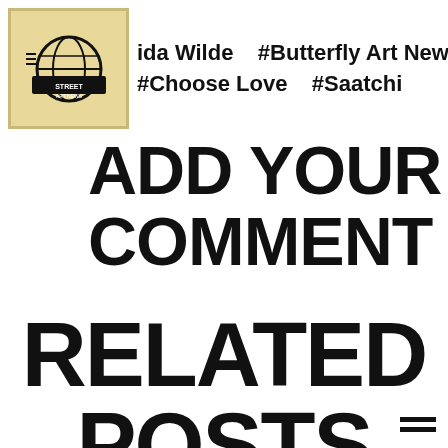ida Wilde   #Butterfly Art News   #Choose Love   #Saatchi
[Figure (logo): Street Art News logo — globe icon with banner, inside a tan/gold bordered box]
ADD YOUR COMMENT
RELATED POSTS